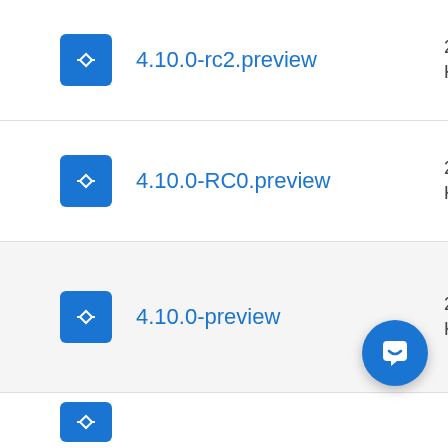4.10.0-rc2.preview
4.10.0-RC0.preview
4.10.0-preview
4.10.0-preview (partial)